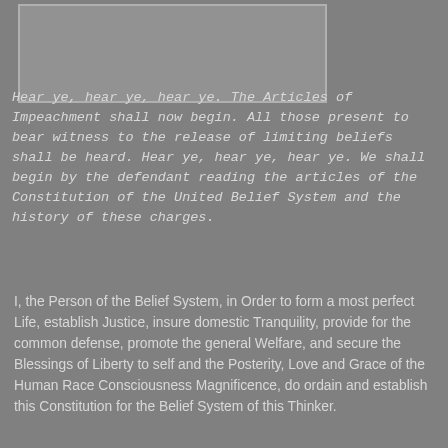[Figure (illustration): A gray rectangular box in the upper left area of the page, representing an image placeholder.]
Hear ye, hear ye, hear ye. The Articles of Impeachment shall now begin. All those present to bear witness to the release of limiting beliefs shall be heard. Hear ye, hear ye, hear ye. We shall begin by the defendant reading the articles of the Constitution of the United Belief System and the history of these charges.
I, the Person of the Belief System, in Order to form a most perfect Life, establish Justice, insure domestic Tranquility, provide for the common defense, promote the general Welfare, and secure the Blessings of Liberty to self and the Posterity, Love and Grace of the Human Race Consciousness Magnificence, do ordain and establish this Constitution for the Belief System of this Thinker.